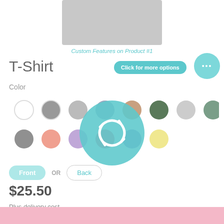[Figure (photo): Gray t-shirt product image cropped at top]
Custom Features on Product #1
T-Shirt
Click for more options
Color
[Figure (illustration): Color swatches grid showing multiple color options for t-shirt]
Front OR Back
$25.50
Plus delivery cost